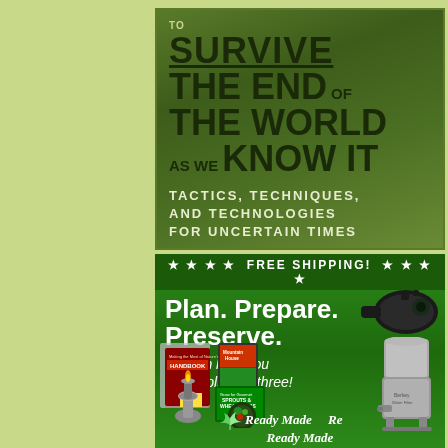[Figure (photo): Book cover with dark green background showing title text: 'TO SURVIVE THE END OF THE WORLD AS WE KNOW IT' with subtitle 'TACTICS, TECHNIQUES, AND TECHNOLOGIES FOR UNCERTAIN TIMES']
[Figure (infographic): Green advertisement banner with stars and text: FREE SHIPPING! Plan. Prepare. Preserve. We can help you accomplish all three! Shows images of a night vision device, survival handbook, Mountain House food, sprouts book, water filter, lamp, and produce. Bottom shows Ready Made Resources logo.]